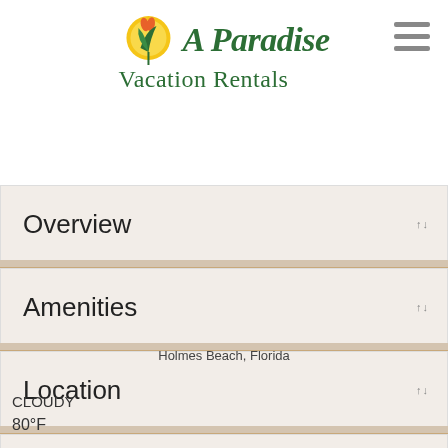[Figure (logo): A Paradise Vacation Rentals logo with sun/flower icon and green serif text]
Overview
Amenities
Location
Reviews
Holmes Beach, Florida
Cloudy
80°F